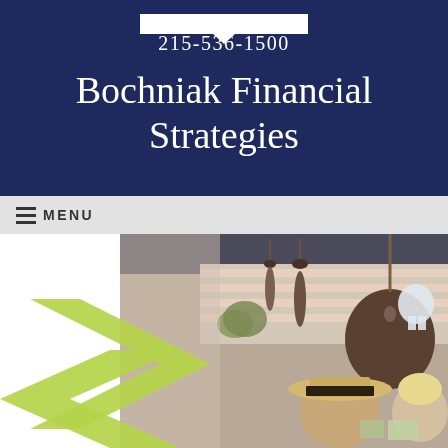[Figure (logo): White logo bar with downward pointing triangle/arrow beneath it on dark navy background]
215-536-1500
Bochniak Financial Strategies
≡ MENU
[Figure (photo): Market scene photo with two women shopping at what appears to an outdoor or indoor market with hanging meats/produce; overlaid with green diamond/chevron shapes on the left side]